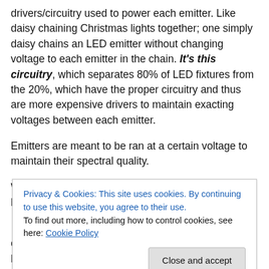drivers/circuitry used to power each emitter. Like daisy chaining Christmas lights together; one simply daisy chains an LED emitter without changing voltage to each emitter in the chain. It's this circuitry, which separates 80% of LED fixtures from the 20%, which have the proper circuitry and thus are more expensive drivers to maintain exacting voltages between each emitter.
Emitters are meant to be ran at a certain voltage to maintain their spectral quality.
Without the proper divers, if dimmed the emitters will have
Privacy & Cookies: This site uses cookies. By continuing to use this website, you agree to their use.
To find out more, including how to control cookies, see here: Cookie Policy
can cause shifting of the lighting spectrum. This is how it's